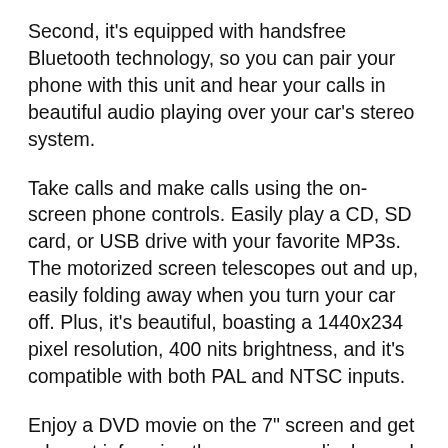Second, it's equipped with handsfree Bluetooth technology, so you can pair your phone with this unit and hear your calls in beautiful audio playing over your car's stereo system.
Take calls and make calls using the on-screen phone controls. Easily play a CD, SD card, or USB drive with your favorite MP3s. The motorized screen telescopes out and up, easily folding away when you turn your car off. Plus, it's beautiful, boasting a 1440x234 pixel resolution, 400 nits brightness, and it's compatible with both PAL and NTSC inputs.
Enjoy a DVD movie on the 7" screen and get relevant info using the on screen display and the wireless remote control. You can also adjust the sound to your liking using the preset EQ settings – or manually adjust treble, bass, balance, fader, and speaker volume controls. Electronic shock